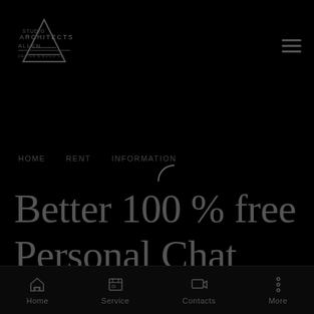[Figure (logo): Website logo with text and decorative arch/triangle design, dark gray on black]
[Figure (other): Hamburger menu icon (three horizontal lines) in top right corner]
HOME   RENT   INFORMATION
[Figure (other): Loading spinner icon (partial circle arc)]
Better 100 % free Personal Chat
rooms And then
Home   Service   Contacts   More